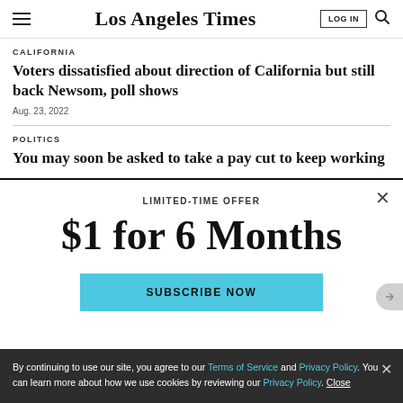Los Angeles Times
CALIFORNIA
Voters dissatisfied about direction of California but still back Newsom, poll shows
Aug. 23, 2022
POLITICS
You may soon be asked to take a pay cut to keep working
LIMITED-TIME OFFER
$1 for 6 Months
SUBSCRIBE NOW
By continuing to use our site, you agree to our Terms of Service and Privacy Policy. You can learn more about how we use cookies by reviewing our Privacy Policy. Close